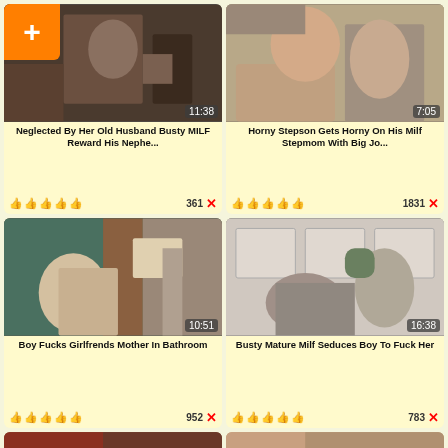[Figure (screenshot): Video thumbnail grid showing adult video titles with duration overlays, thumbs up icons, and view counts]
Neglected By Her Old Husband Busty MILF Reward His Nephe... | 11:38 | 👍👍👍👍👍 | 361 ✕
Horny Stepson Gets Horny On His Milf Stepmom With Big Jo... | 7:05 | 👍👍👍👍👍 | 1831 ✕
Boy Fucks Girlfrends Mother In Bathroom | 10:51 | 👍👍👍👍👍 | 952 ✕
Busty Mature Milf Seduces Boy To Fuck Her | 16:38 | 👍👍👍👍👍 | 783 ✕